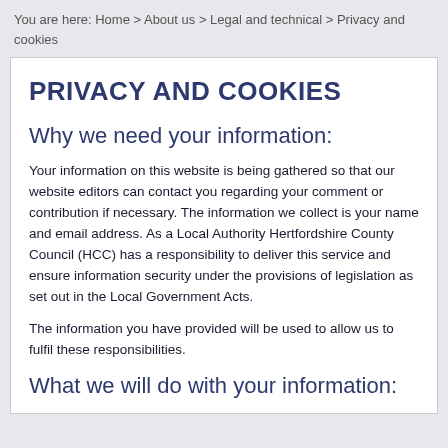You are here: Home > About us > Legal and technical > Privacy and cookies
PRIVACY AND COOKIES
Why we need your information:
Your information on this website is being gathered so that our website editors can contact you regarding your comment or contribution if necessary. The information we collect is your name and email address. As a Local Authority Hertfordshire County Council (HCC) has a responsibility to deliver this service and ensure information security under the provisions of legislation as set out in the Local Government Acts.
The information you have provided will be used to allow us to fulfil these responsibilities.
What we will do with your information: